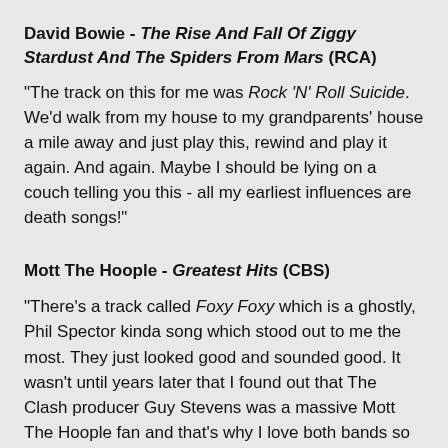David Bowie - The Rise And Fall Of Ziggy Stardust And The Spiders From Mars (RCA)
"The track on this for me was Rock 'N' Roll Suicide. We'd walk from my house to my grandparents' house a mile away and just play this, rewind and play it again. And again. Maybe I should be lying on a couch telling you this - all my earliest influences are death songs!"
Mott The Hoople - Greatest Hits (CBS)
"There's a track called Foxy Foxy which is a ghostly, Phil Spector kinda song which stood out to me the most. They just looked good and sounded good. It wasn't until years later that I found out that The Clash producer Guy Stevens was a massive Mott The Hoople fan and that's why I love both bands so much."